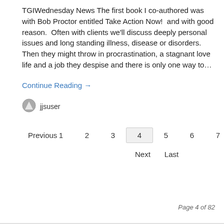TGIWednesday News The first book I co-authored was with Bob Proctor entitled Take Action Now!  and with good reason.  Often with clients we'll discuss deeply personal issues and long standing illness, disease or disorders.  Then they might throw in procrastination, a stagnant love life and a job they despise and there is only one way to…
Continue Reading →
jjsuser
Previous  1  2  3  4  5  6  7  8
Next  Last
Page 4 of 82